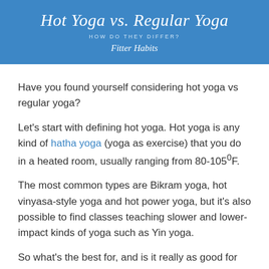Hot Yoga vs. Regular Yoga
HOW DO THEY DIFFER?
Fitter Habits
Have you found yourself considering hot yoga vs regular yoga?
Let's start with defining hot yoga. Hot yoga is any kind of hatha yoga (yoga as exercise) that you do in a heated room, usually ranging from 80-105°F.
The most common types are Bikram yoga, hot vinyasa-style yoga and hot power yoga, but it's also possible to find classes teaching slower and lower-impact kinds of yoga such as Yin yoga.
So what's the best for, and is it really as good for you as they say?